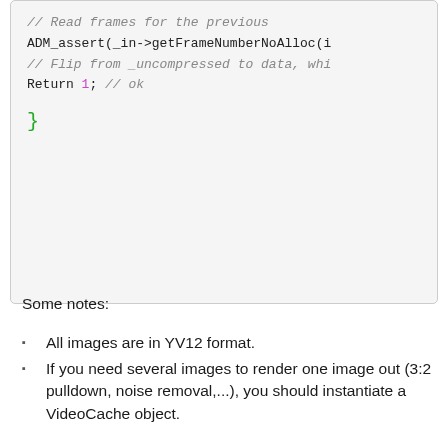[Figure (screenshot): Code block showing C++ code snippet with comments and return statement, partially clipped on the right side. Gray background with colored syntax highlighting.]
Some notes:
All images are in YV12 format.
If you need several images to render one image out (3:2 pulldown, noise removal,...), you should instantiate a VideoCache object.
Declaring your filter
There are 2 ways of declaring your filter: bundled or plugin. You can do both at the same time, in the same file.
Bundled filter